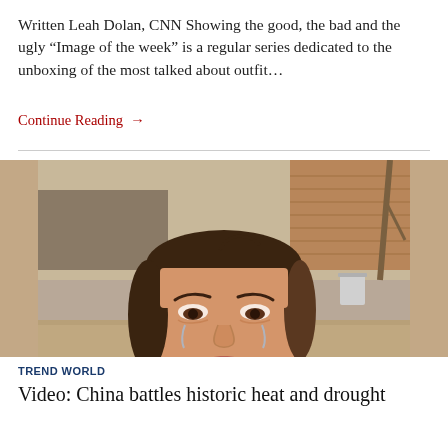Written Leah Dolan, CNN Showing the good, the bad and the ugly “Image of the week” is a regular series dedicated to the unboxing of the most talked about outfit…
Continue Reading →
[Figure (photo): A woman squinting and crying outdoors, with a brick building and debris in the background. Appears to be a video screenshot.]
TREND WORLD
Video: China battles historic heat and drought